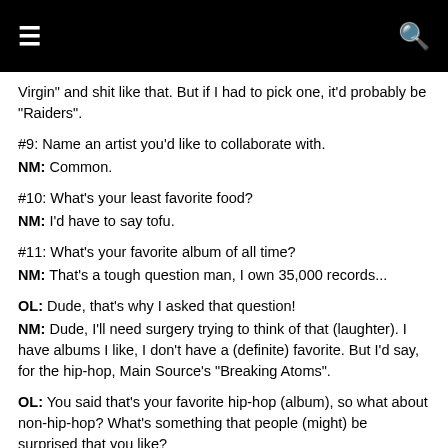≡  [menu]  [search]
Virgin" and shit like that. But if I had to pick one, it'd probably be "Raiders".
#9: Name an artist you'd like to collaborate with.
NM: Common.
#10: What's your least favorite food?
NM: I'd have to say tofu.
#11: What's your favorite album of all time?
NM: That's a tough question man, I own 35,000 records...
OL: Dude, that's why I asked that question!
NM: Dude, I'll need surgery trying to think of that (laughter). I have albums I like, I don't have a (definite) favorite. But I'd say, for the hip-hop, Main Source's "Breaking Atoms".
OL: You said that's your favorite hip-hop (album), so what about non-hip-hop? What's something that people (might) be surprised that you like?
NM: Pretty much any Police record and almost any James Brown